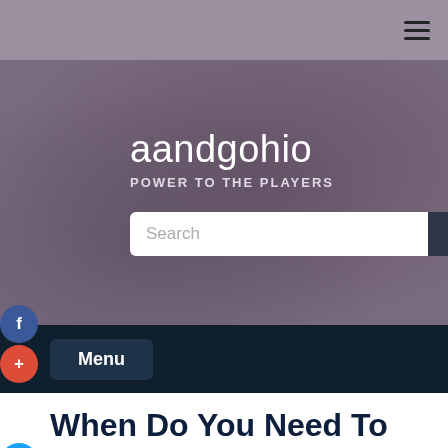aandgohio — navigation bar with hamburger menu
aandgohio
POWER TO THE PLAYERS
Search
Menu
When Do You Need To Hire Commercial Paving Contractors?